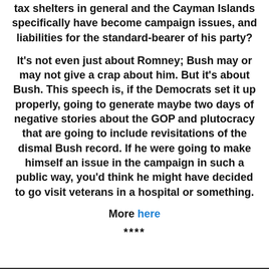tax shelters in general and the Cayman Islands specifically have become campaign issues, and liabilities for the standard-bearer of his party?
It's not even just about Romney; Bush may or may not give a crap about him. But it's about Bush. This speech is, if the Democrats set it up properly, going to generate maybe two days of negative stories about the GOP and plutocracy that are going to include revisitations of the dismal Bush record. If he were going to make himself an issue in the campaign in such a public way, you'd think he might have decided to go visit veterans in a hospital or something.
More here
****